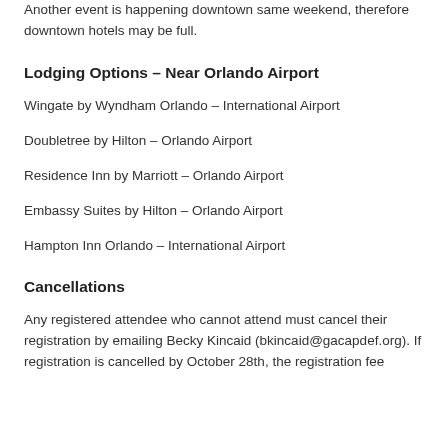Another event is happening downtown same weekend, therefore downtown hotels may be full.
Lodging Options – Near Orlando Airport
Wingate by Wyndham Orlando – International Airport
Doubletree by Hilton – Orlando Airport
Residence Inn by Marriott – Orlando Airport
Embassy Suites by Hilton – Orlando Airport
Hampton Inn Orlando – International Airport
Cancellations
Any registered attendee who cannot attend must cancel their registration by emailing Becky Kincaid (bkincaid@gacapdef.org). If registration is cancelled by October 28th, the registration fee